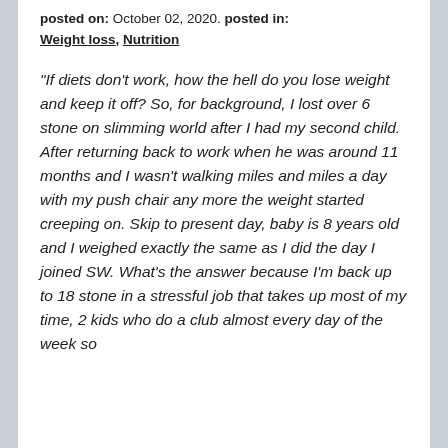posted on: October 02, 2020. posted in: Weight loss, Nutrition
"If diets don't work, how the hell do you lose weight and keep it off? So, for background, I lost over 6 stone on slimming world after I had my second child. After returning back to work when he was around 11 months and I wasn't walking miles and miles a day with my push chair any more the weight started creeping on. Skip to present day, baby is 8 years old and I weighed exactly the same as I did the day I joined SW. What's the answer because I'm back up to 18 stone in a stressful job that takes up most of my time, 2 kids who do a club almost every day of the week so